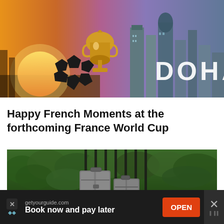[Figure (photo): Composite image showing a golden trophy cup and a soccer ball on a sunset background on the left, and the Doha city skyline at dusk on the right with the word DOHA in large white letters]
Happy French Moments at the forthcoming France World Cup
[Figure (photo): Two silver/grey hard-shell suitcases of different sizes standing upright on grass in front of a green hedge]
[Figure (infographic): Advertisement bar: getyourguide.com — Book now and pay later — OPEN button]